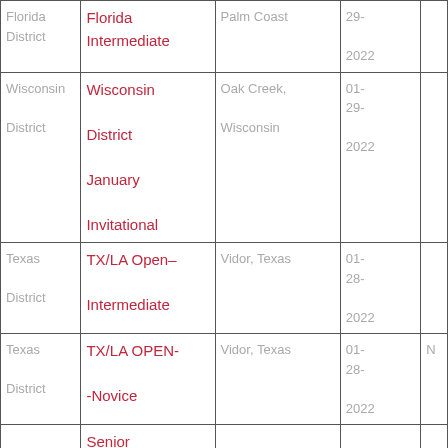| Florida District | Florida Intermediate | Palm Coast | 29-2022 |  |
| Wisconsin District | Wisconsin District January Invitational | Oak Creek, Wisconsin | 01-29-2022 |  |
| Texas District | TX/LA Open–Intermediate | Vidor, Texas | 01-28-2022 |  |
| Texas District | TX/LA OPEN--Novice | Vidor, Texas | 01-28-2022 | N |
|  | Senior |  |  |  |